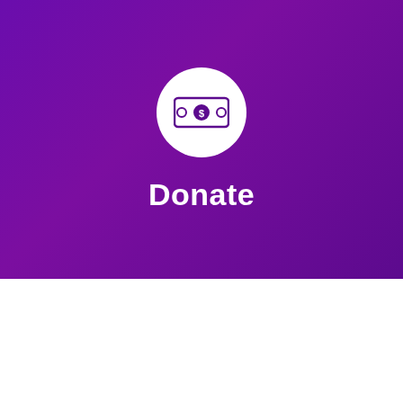[Figure (illustration): White circle icon containing a banknote/money bill graphic with a dollar coin in the center, on a purple background]
Donate